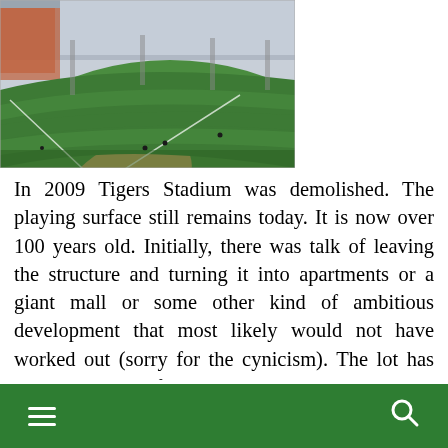[Figure (photo): Aerial view of Tigers Stadium baseball field from upper deck seats, showing the green playing field, infield dirt, and stadium seating in the background.]
In 2009 Tigers Stadium was demolished. The playing surface still remains today. It is now over 100 years old. Initially, there was talk of leaving the structure and turning it into apartments or a giant mall or some other kind of ambitious development that most likely would not have worked out (sorry for the cynicism). The lot has been generally left alone since the demolition. The City has been unable to pay for maintenance and has relied on community members to keep up the field. But this week the City of Detroit issued a Request for Proposals (RFP) for the redevelopment of the site. The City is
≡  🔍